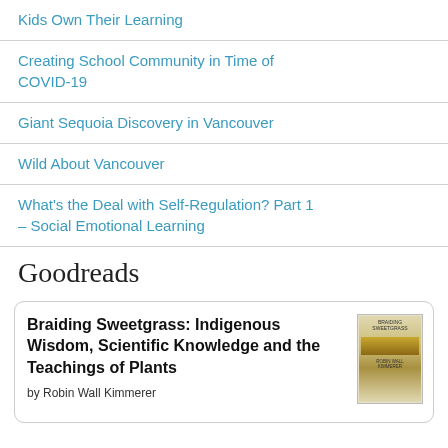Kids Own Their Learning
Creating School Community in Time of COVID-19
Giant Sequoia Discovery in Vancouver
Wild About Vancouver
What's the Deal with Self-Regulation? Part 1 – Social Emotional Learning
Goodreads
Braiding Sweetgrass: Indigenous Wisdom, Scientific Knowledge and the Teachings of Plants
by Robin Wall Kimmerer